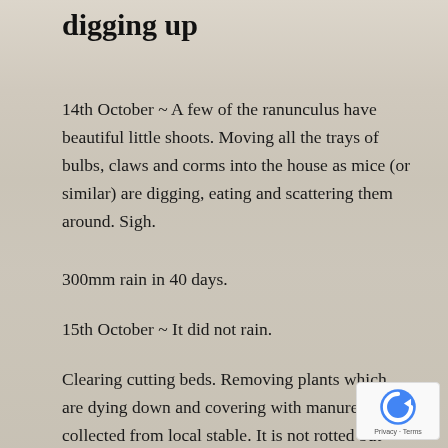digging up
14th October ~ A few of the ranunculus have beautiful little shoots. Moving all the trays of bulbs, claws and corms into the house as mice (or similar) are digging, eating and scattering them around. Sigh.
300mm rain in 40 days.
15th October ~ It did not rain.
Clearing cutting beds. Removing plants which are dying down and covering with manure/straw collected from local stable. It is not rotted but be there for 5/6 months before any planting t place. Collecting seed. Cornflowers are self